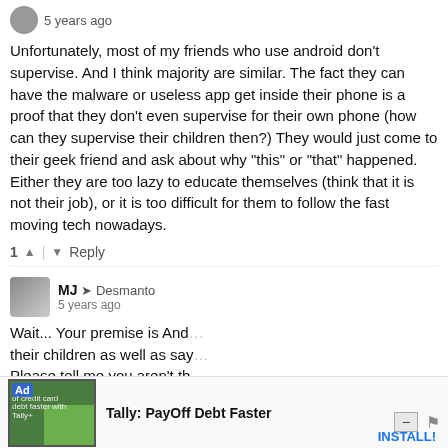5 years ago
Unfortunately, most of my friends who use android don't supervise. And I think majority are similar. The fact they can have the malware or useless app get inside their phone is a proof that they don't even supervise for their own phone (how can they supervise their children then?) They would just come to their geek friend and ask about why "this" or "that" happened. Either they are too lazy to educate themselves (think that it is not their job), or it is too difficult for them to follow the fast moving tech nowadays.
1 | Reply
MJ → Desmanto
5 years ago
Wait... Your premise is And... their children as well as say... Please tell me you aren't th...
^ | v 1 Reply
[Figure (screenshot): Black video player overlay in bottom right]
Ad of credit card debt faster with Tally+  Tally: PayOff Debt Faster  INSTALL!